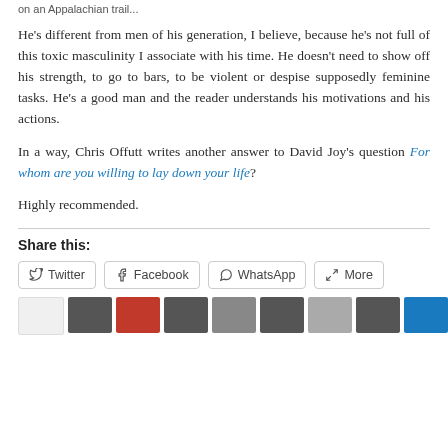on an Appalachian trail...
He's different from men of his generation, I believe, because he's not full of this toxic masculinity I associate with his time. He doesn't need to show off his strength, to go to bars, to be violent or despise supposedly feminine tasks. He's a good man and the reader understands his motivations and his actions.
In a way, Chris Offutt writes another answer to David Joy's question For whom are you willing to lay down your life?
Highly recommended.
Share this:
[Figure (screenshot): Row of share buttons: Twitter, Facebook, WhatsApp, More]
[Figure (screenshot): Row of thumbnail images at the bottom of the page]